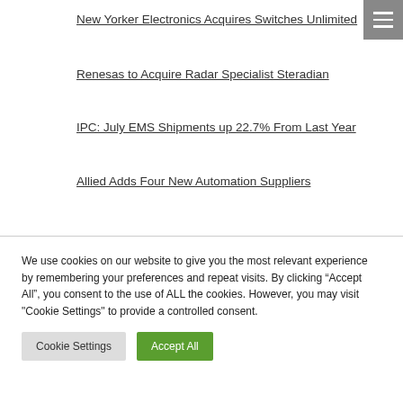New Yorker Electronics Acquires Switches Unlimited
Renesas to Acquire Radar Specialist Steradian
IPC: July EMS Shipments up 22.7% From Last Year
Allied Adds Four New Automation Suppliers
We use cookies on our website to give you the most relevant experience by remembering your preferences and repeat visits. By clicking “Accept All”, you consent to the use of ALL the cookies. However, you may visit "Cookie Settings" to provide a controlled consent.